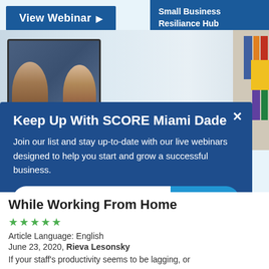[Figure (screenshot): View Webinar button with right-pointing arrow on light blue background]
Small Business Resiliance Hub
[Figure (photo): Man in glasses on video call, monitor showing two participants, bookshelf in background]
Keep Up With SCORE Miami Dade
Join our list and stay up-to-date with our live webinars designed to help you start and grow a successful business.
email address
SUBMIT
While Working From Home
★★★★★
Article Language: English
June 23, 2020, Rieva Lesonsky
If your staff's productivity seems to be lagging, or